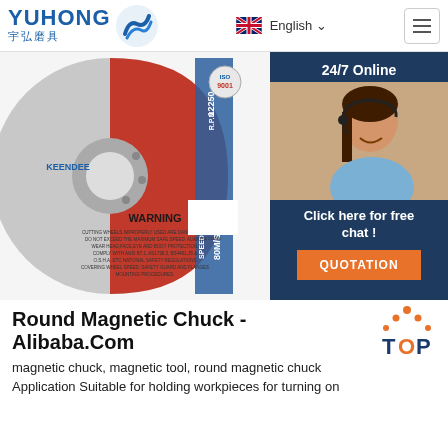YUHONG 宇弘磨具 | English | Menu
[Figure (photo): Yuhong/Keendee brand red cutting/grinding disc showing RPM 12250, SPEED 80M/S, WARNING label, and ISO 9001 certification, with customer service agent overlay on right showing '24/7 Online' and 'Click here for free chat!' and QUOTATION button]
Round Magnetic Chuck - Alibaba.Com
magnetic chuck, magnetic tool, round magnetic chuck Application Suitable for holding workpieces for turning on